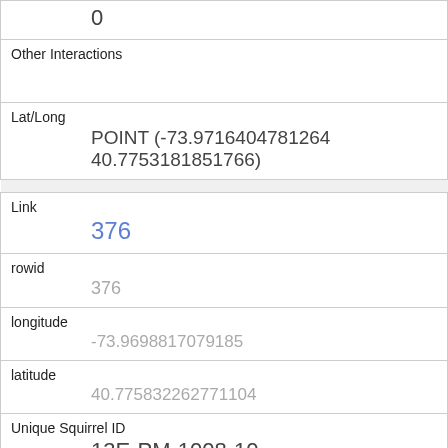| 0 |
| Other Interactions |  |
| Lat/Long | POINT (-73.9716404781264 40.7753181851766) |
| Link | 376 |
| rowid | 376 |
| longitude | -73.9698817079185 |
| latitude | 40.775832262771104 |
| Unique Squirrel ID | 13E-PM-1008-10 |
| Hectare | 13E |
| Shift | PM |
| Date |  |